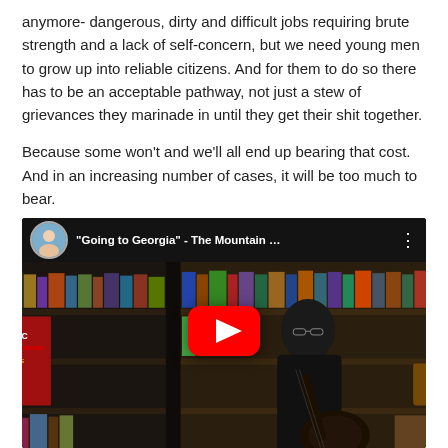anymore- dangerous, dirty and difficult jobs requiring brute strength and a lack of self-concern, but we need young men to grow up into reliable citizens. And for them to do so there has to be an acceptable pathway, not just a stew of grievances they marinade in until they get their shit together.
Because some won't and we'll all end up bearing that cost. And in an increasing number of cases, it will be too much to bear.
[Figure (screenshot): Embedded YouTube video thumbnail showing a man playing guitar in front of bookshelves. The video title reads '"Going to Georgia" - The Mountain ...' with a profile picture in the top-left corner and a YouTube play button in the center.]